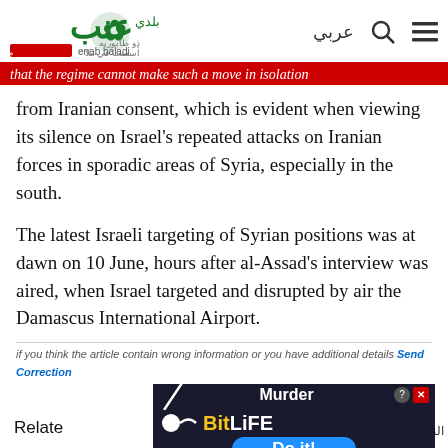[Figure (logo): Enab Baladi news website logo with green Arabic text and flower icon]
that the regime cannot make such a move in isolation from Iranian consent, which is evident when viewing its silence on Israel's repeated attacks on Iranian forces in sporadic areas of Syria, especially in the south.
The latest Israeli targeting of Syrian positions was at dawn on 10 June, hours after al-Assad's interview was aired, when Israel targeted and disrupted by air the Damascus International Airport.
if you think the article contain wrong information or you have additional details Send Correction
Relate
[Figure (screenshot): BitLife mobile game advertisement banner with Murder Do it! text]